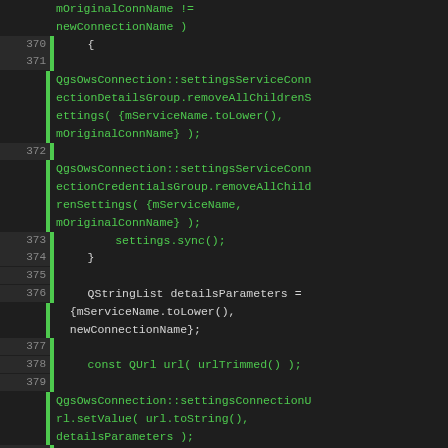[Figure (screenshot): Source code editor screenshot showing C++ code lines 370-384 with green syntax highlighting for method calls on dark background. Code involves QgsOwsConnection settings methods for service connection details, credentials, URL, and WFS connection type handling.]